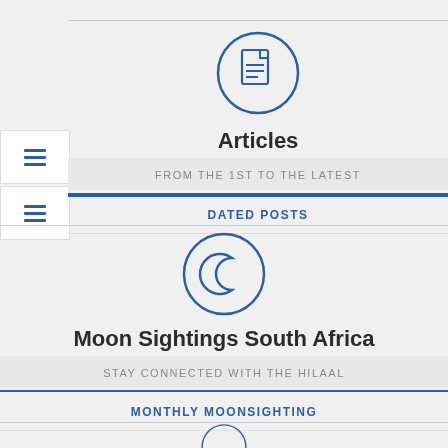[Figure (illustration): Blue circle icon containing a document/article page icon]
Articles
FROM THE 1ST TO THE LATEST
DATED POSTS
[Figure (illustration): Blue circle icon containing a crescent moon icon]
Moon Sightings South Africa
STAY CONNECTED WITH THE HILAAL
MONTHLY MOONSIGHTING
[Figure (illustration): Partial blue circle icon at bottom of page]